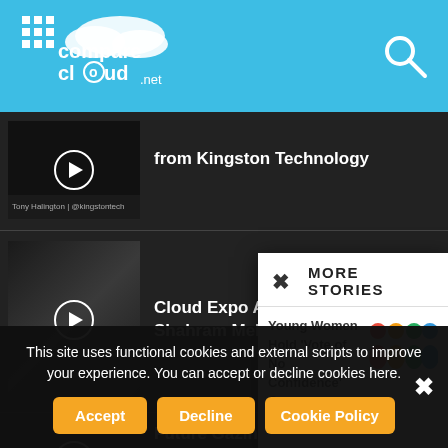[Figure (screenshot): comparecloud.net website header with logo and search icon on blue background]
from Kingston Technology
[Figure (screenshot): Video thumbnail with play button]
Cloud Expo Asia interview with Shahram Mehraban from Lantronix
Future Gazing with the Channel – Comms
[Figure (screenshot): More Stories modal popup with close button, showing 'Young Women Hold Vote of No Confidence Over' story with people icons]
This site uses functional cookies and external scripts to improve your experience. You can accept or decline cookies here.
Accept
Decline
Cookie Policy